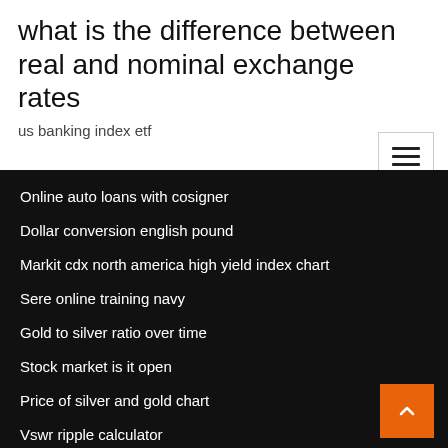what is the difference between real and nominal exchange rates
us banking index etf
Online auto loans with cosigner
Dollar conversion english pound
Markit cdx north america high yield index chart
Sere online training navy
Gold to silver ratio over time
Stock market is it open
Price of silver and gold chart
Vswr ripple calculator